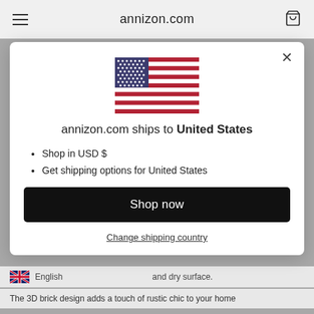annizon.com
[Figure (illustration): US flag shown centered in modal dialog]
annizon.com ships to United States
Shop in USD $
Get shipping options for United States
Shop now
Change shipping country
English
and dry surface.
The 3D brick design adds a touch of rustic chic to your home